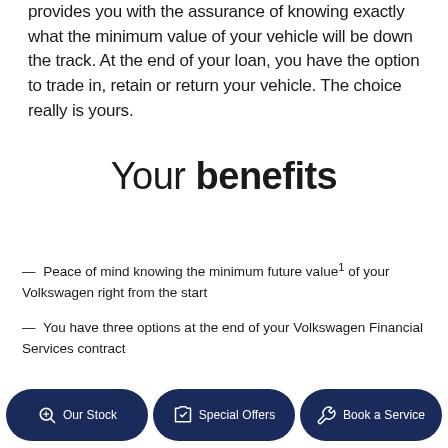provides you with the assurance of knowing exactly what the minimum value of your vehicle will be down the track. At the end of your loan, you have the option to trade in, retain or return your vehicle. The choice really is yours.
Your benefits
— Peace of mind knowing the minimum future value1 of your Volkswagen right from the start
— You have three options at the end of your Volkswagen Financial Services contract
Our Stock | Special Offers | Book a Service